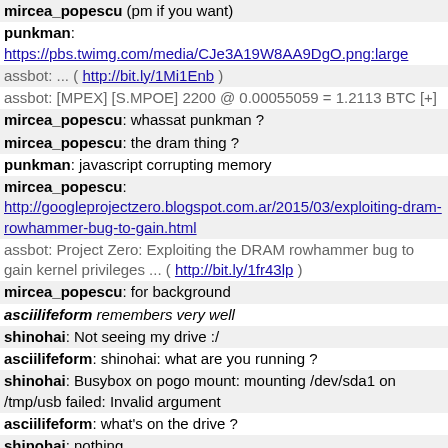mircea_popescu (pm if you want)
punkman: https://pbs.twimg.com/media/CJe3A19W8AA9DgO.png:large
assbot: ... ( http://bit.ly/1Mi1Enb )
assbot: [MPEX] [S.MPOE] 2200 @ 0.00055059 = 1.2113 BTC [+]
mircea_popescu: whassat punkman ?
mircea_popescu: the dram thing ?
punkman: javascript corrupting memory
mircea_popescu: http://googleprojectzero.blogspot.com.ar/2015/03/exploiting-dram-rowhammer-bug-to-gain.html
assbot: Project Zero: Exploiting the DRAM rowhammer bug to gain kernel privileges ... ( http://bit.ly/1fr43lp )
mircea_popescu: for background
asciilifeform remembers very well
shinohai: Not seeing my drive :/
asciilifeform: shinohai: what are you running ?
shinohai: Busybox on pogo mount: mounting /dev/sda1 on /tmp/usb failed: Invalid argument
asciilifeform: what's on the drive ?
shinohai: nothing
asciilifeform: of course it won't mount
asciilifeform: gotta partition it
punkman: the "spam" is now up to 0.00034513 fee
shinohai checks
shinohai: Fer crissakes I forgot to partition it